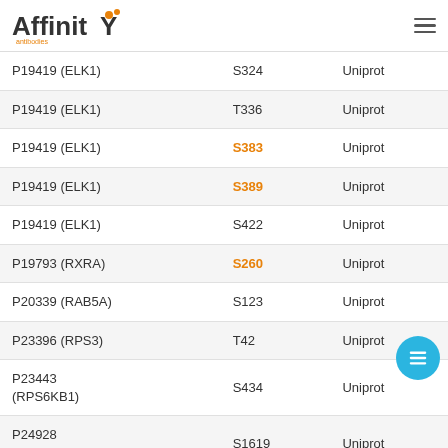Affinity antibodies logo and navigation
| Protein | Site | Source |
| --- | --- | --- |
| P19419 (ELK1) | S324 | Uniprot |
| P19419 (ELK1) | T336 | Uniprot |
| P19419 (ELK1) | S383 | Uniprot |
| P19419 (ELK1) | S389 | Uniprot |
| P19419 (ELK1) | S422 | Uniprot |
| P19793 (RXRA) | S260 | Uniprot |
| P20339 (RAB5A) | S123 | Uniprot |
| P23396 (RPS3) | T42 | Uniprot |
| P23443 (RPS6KB1) | S434 | Uniprot |
| P24928 (POLR2A) | S1619 | Uniprot |
| P24928 (POLR2A) | S1626 | Uniprot |